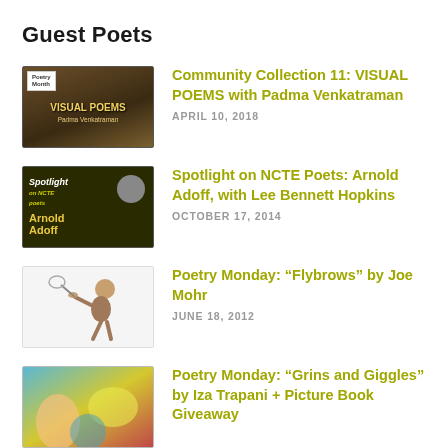Guest Poets
[Figure (photo): Thumbnail image for Community Collection 11: VISUAL POEMS with Padma Venkatraman — dark brown archway background with gold text.]
Community Collection 11: VISUAL POEMS with Padma Venkatraman
APRIL 10, 2018
[Figure (photo): Thumbnail image for Spotlight on NCTE Poets: Arnold Adoff, with Lee Bennett Hopkins — dark background with yellow 'Spotlight' and 'Arnold Adoff' text.]
Spotlight on NCTE Poets: Arnold Adoff, with Lee Bennett Hopkins
OCTOBER 17, 2014
[Figure (illustration): Thumbnail illustration for Poetry Monday: Flybrows by Joe Mohr — child figure on white background.]
Poetry Monday: “Flybrows” by Joe Mohr
JUNE 18, 2012
[Figure (photo): Thumbnail image for Poetry Monday: Grins and Giggles by Iza Trapani — colorful abstract/figurative image with blues and yellows.]
Poetry Monday: “Grins and Giggles” by Iza Trapani + Picture Book Giveaway